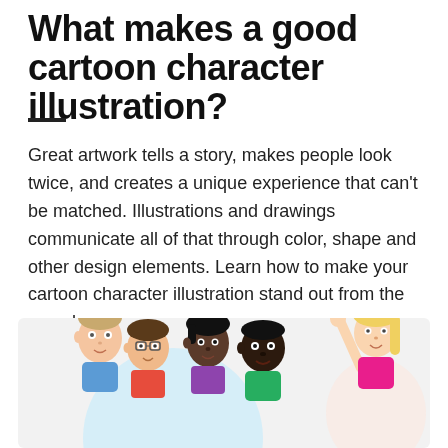What makes a good cartoon character illustration?
Great artwork tells a story, makes people look twice, and creates a unique experience that can't be matched. Illustrations and drawings communicate all of that through color, shape and other design elements. Learn how to make your cartoon character illustration stand out from the crowd.
[Figure (illustration): A group of cartoon character illustrations showing diverse people with different skin tones and hair styles, partially cropped at the bottom of the page. On the left side is a group of four characters with a light blue circular background. On the right side is a character with blonde hair raising their arm.]